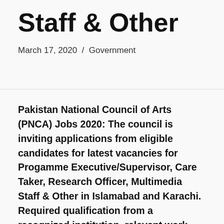Staff & Other
March 17, 2020  /  Government
Pakistan National Council of Arts (PNCA) Jobs 2020: The council is inviting applications from eligible candidates for latest vacancies for Progamme Executive/Supervisor, Care Taker, Research Officer, Multimedia Staff & Other in Islamabad and Karachi. Required qualification from a recognized institution, relevant work experience and age limit requirement are as following. Eligible candidates are encouraged to apply to the post in prescribed manner. Incomplete, late, hand written submissions/applications will not be entertained. Only shortlisted candidates will be called